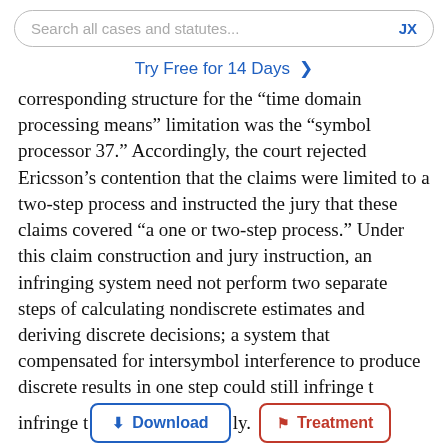Search all cases and statutes...
Try Free for 14 Days >
corresponding structure for the “time domain processing means” limitation was the “symbol processor 37.” Accordingly, the court rejected Ericsson’s contention that the claims were limited to a two-step process and instructed the jury that these claims covered “a one or two-step process.” Under this claim construction and jury instruction, an infringing system need not perform two separate steps of calculating nondiscrete estimates and deriving discrete decisions; a system that compensated for intersymbol interference to produce discrete results in one step could still infringe th[e patent]ly.
Claim 45, a method claim, was also asserted: